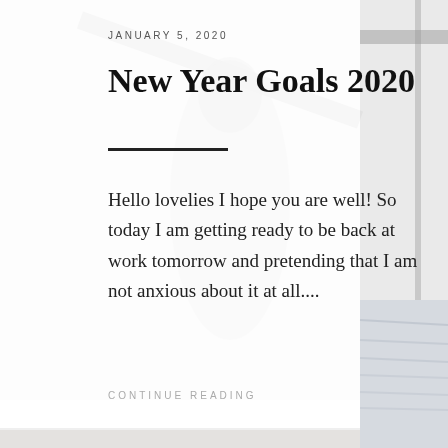[Figure (photo): Faded background photo of a person standing, likely outdoors near water, with a bridge structure visible at top right and water/waterfront scene on the right strip.]
JANUARY 5, 2020
New Year Goals 2020
Hello lovelies I hope you are well! So today I am getting ready to be back at work tomorrow and pretending that I am not anxious about it at all....
CONTINUE READING